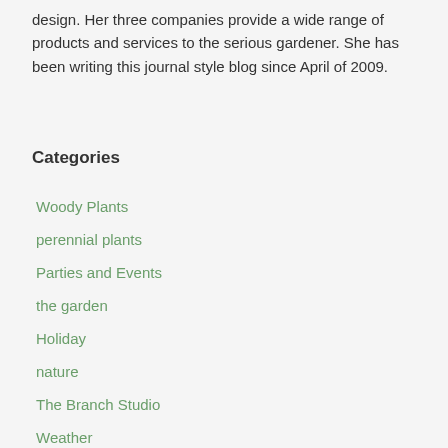design. Her three companies provide a wide range of products and services to the serious gardener. She has been writing this journal style blog since April of 2009.
Categories
Woody Plants
perennial plants
Parties and Events
the garden
Holiday
nature
The Branch Studio
Weather
Plants
seasonal plants